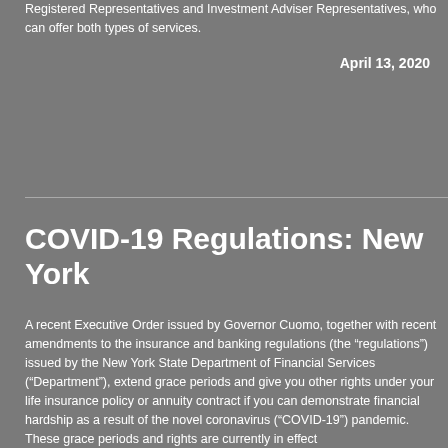Registered Representatives and Investment Adviser Representatives, who can offer both types of services.
April 13, 2020
COVID-19 Regulations: New York
A recent Executive Order issued by Governor Cuomo, together with recent amendments to the insurance and banking regulations (the “regulations”) issued by the New York State Department of Financial Services (“Department”), extend grace periods and give you other rights under your life insurance policy or annuity contract if you can demonstrate financial hardship as a result of the novel coronavirus (“COVID-19”) pandemic. These grace periods and rights are currently in effect